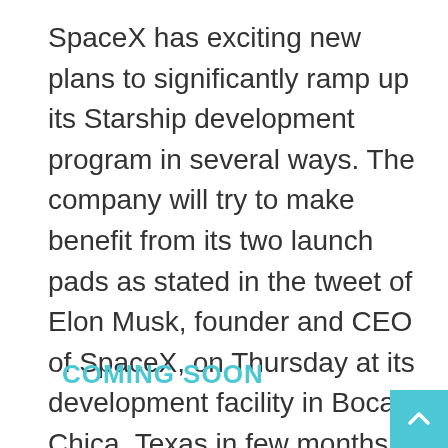SpaceX has exciting new plans to significantly ramp up its Starship development program in several ways. The company will try to make benefit from its two launch pads as stated in the tweet of Elon Musk, founder and CEO of SpaceX, on Thursday at its development facility in Boca Chica, Texas in few months with its prototype rockets ready on each and will begin Super Heavy Booster's flight testing to start with low altitude hops.
COMING SOON